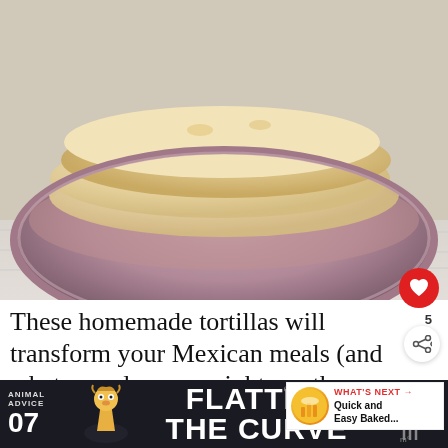[Figure (photo): Overhead close-up photo of a stack of homemade flour tortillas in a round mauve/purple ceramic bowl, placed on a white wooden surface.]
These homemade tortillas will transform your Mexican meals (and whatever else you might use them for) and take them over the top!
[Figure (infographic): "WHAT'S NEXT" callout with thumbnail image of baked food and text "Quick and Easy Baked..."]
[Figure (infographic): Advertisement banner: Animal Advice 07 / FLATTEN THE CURVE with mascot illustration and social handle @rohandaho]